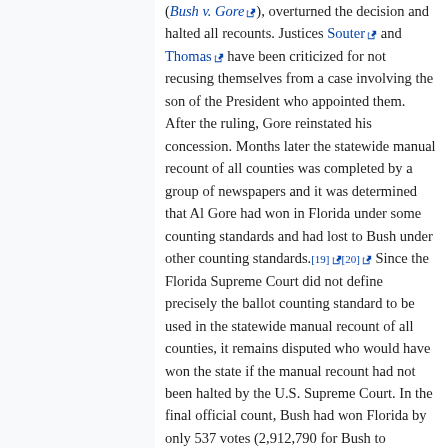( Bush v. Gore ), overturned the decision and halted all recounts. Justices Souter and Thomas have been criticized for not recusing themselves from a case involving the son of the President who appointed them. After the ruling, Gore reinstated his concession. Months later the statewide manual recount of all counties was completed by a group of newspapers and it was determined that Al Gore had won in Florida under some counting standards and had lost to Bush under other counting standards.[19] [20] Since the Florida Supreme Court did not define precisely the ballot counting standard to be used in the statewide manual recount of all counties, it remains disputed who would have won the state if the manual recount had not been halted by the U.S. Supreme Court. In the final official count, Bush had won Florida by only 537 votes (2,912,790 for Bush to 2,912,253 for Gore) [21] , earning the needed 25 electoral votes and the presidency. Bush was inaugurated January 20, 2001. After the election and the